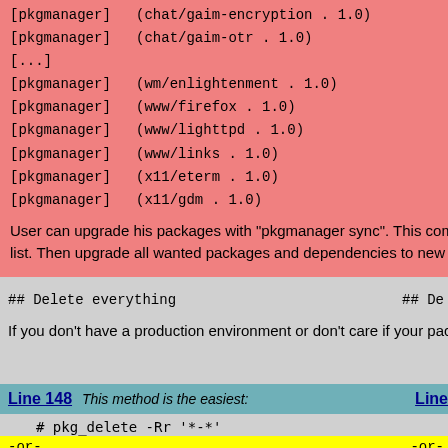[pkgmanager]   (chat/gaim-encryption . 1.0)
[pkgmanager]   (chat/gaim-otr . 1.0)
[...]
[pkgmanager]   (wm/enlightenment . 1.0)
[pkgmanager]   (www/firefox . 1.0)
[pkgmanager]   (www/lighttpd . 1.0)
[pkgmanager]   (www/links . 1.0)
[pkgmanager]   (x11/eterm . 1.0)
[pkgmanager]   (x11/gdm . 1.0)
User can upgrade his packages with "pkgmanager sync". This command removes packages installed on system which are not listed on want list. Then upgrade all wanted packages and dependencies to new version.
## Delete everything
If you don't have a production environment or don't care if your packages will be missing for a while, you can just delete everything and reinstall.
Line 148  This method is the easiest:
# pkg_delete -Rr '*-*'
-or-
# pkg_delete -ff '*-*'